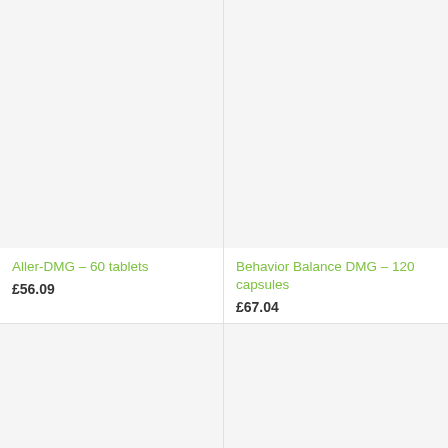[Figure (other): Product image placeholder for Aller-DMG 60 tablets, light gray background]
Aller-DMG – 60 tablets
£56.09
[Figure (other): Product image placeholder for Behavior Balance DMG 120 capsules, light gray background]
Behavior Balance DMG – 120 capsules
£67.04
[Figure (other): Product image placeholder, bottom left, light gray background]
[Figure (other): Product image placeholder, bottom right, light gray background]